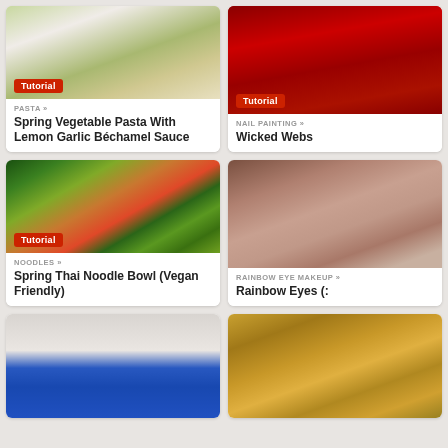[Figure (photo): Food photo of Spring Vegetable Pasta with cream sauce and broccoli, with a red Tutorial badge]
PASTA »
Spring Vegetable Pasta With Lemon Garlic Béchamel Sauce
[Figure (photo): Close-up of dark red nails on red background, with a red Tutorial badge]
NAIL PAINTING »
Wicked Webs
[Figure (photo): Photo of Thai noodle bowl with vegetables, herbs, lime, with a red Tutorial badge]
NOODLES »
Spring Thai Noodle Bowl (Vegan Friendly)
[Figure (photo): Photo of a woman with red hair and rainbow eye makeup with red lipstick]
RAINBOW EYE MAKEUP »
Rainbow Eyes (:
[Figure (photo): Partial image of something with blue circular shape on white background]
[Figure (photo): Partial image of golden tart pastries on a surface]